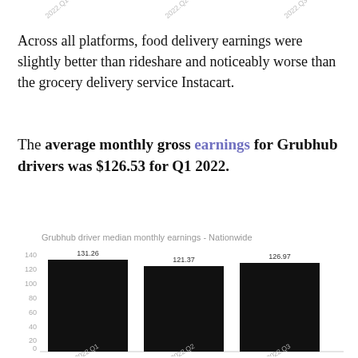2022.Q1  2022.Q2  2022.Q3
Across all platforms, food delivery earnings were slightly better than rideshare and noticeably worse than the grocery delivery service Instacart.
The average monthly gross earnings for Grubhub drivers was $126.53 for Q1 2022.
[Figure (bar-chart): Grubhub driver median monthly earnings - Nationwide]